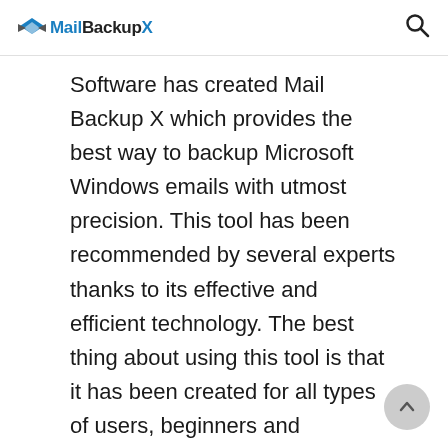Mail Backup X
Software has created Mail Backup X which provides the best way to backup Microsoft Windows emails with utmost precision. This tool has been recommended by several experts thanks to its effective and efficient technology. The best thing about using this tool is that it has been created for all types of users, beginners and advanced alike. Read on to find more about this rewarding product. Learn how to backup Microsoft Windows emails, with no prior experience! Mail Backup X is the most user-friendly tool that